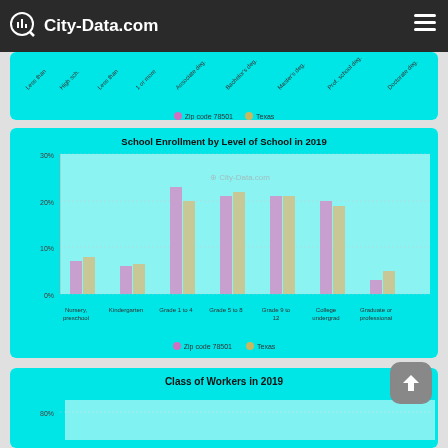City-Data.com
[Figure (bar-chart): Partial bar chart showing education levels, cut off at top. Legend shows Zip code 78501 (pink) and Texas (tan).]
[Figure (grouped-bar-chart): School Enrollment by Level of School in 2019]
[Figure (bar-chart): Partial bar chart for Class of Workers in 2019, cut off at bottom of page.]